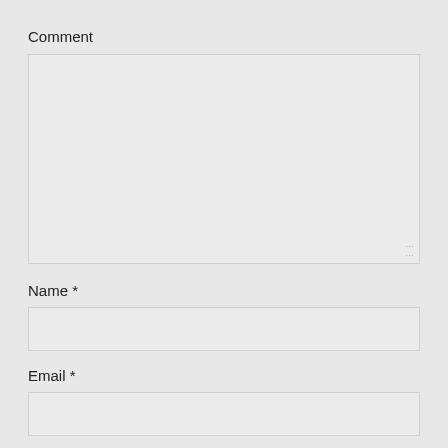Comment
[Figure (screenshot): Large empty comment textarea with resize handle in bottom-right corner]
Name *
[Figure (screenshot): Name input field, single line text box]
Email *
[Figure (screenshot): Email input field, single line text box]